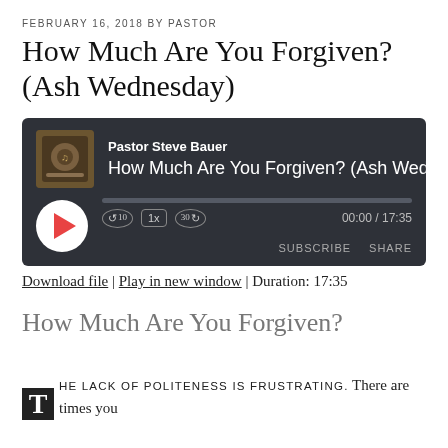FEBRUARY 16, 2018 BY PASTOR
How Much Are You Forgiven? (Ash Wednesday)
[Figure (other): Audio player widget with dark background showing podcast episode. Thumbnail image on left, 'Pastor Steve Bauer' as bold label, episode title 'How Much Are You Forgiven? (Ash Wed' as subtitle, play button (white circle with red triangle), progress bar, skip-back-10, 1x speed, skip-forward-30 controls, time display 00:00/17:35, SUBSCRIBE and SHARE buttons.]
Download file | Play in new window | Duration: 17:35
How Much Are You Forgiven?
T HE LACK OF POLITENESS IS FRUSTRATING. There are times you